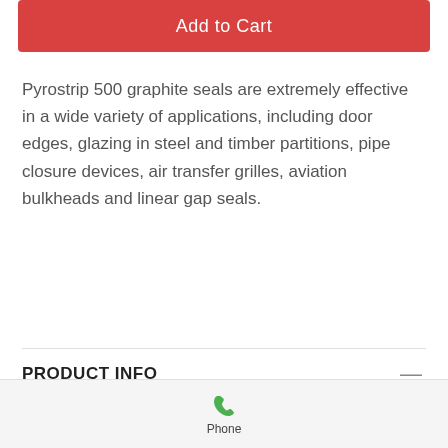Add to Cart
Pyrostrip 500 graphite seals are extremely effective in a wide variety of applications, including door edges, glazing in steel and timber partitions, pipe closure devices, air transfer grilles, aviation bulkheads and linear gap seals.
PRODUCT INFO
In a situation where fire arises, the intumescent expands to many times its original volume and develops a positive pressure when restricted by
[Figure (other): Phone icon with label 'Phone']